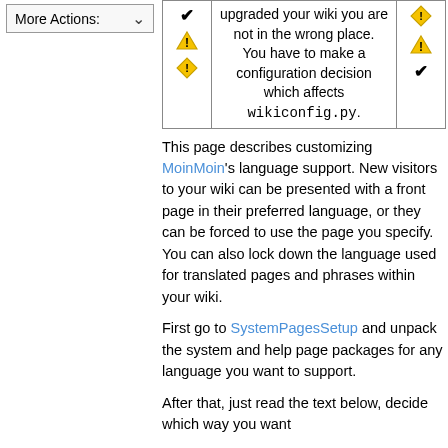|  |  |  |
| --- | --- | --- |
| ✔ ⚠ ◆ | upgraded your wiki you are not in the wrong place. You have to make a configuration decision which affects wikiconfig.py. | ◆ ⚠ ✔ |
This page describes customizing MoinMoin's language support. New visitors to your wiki can be presented with a front page in their preferred language, or they can be forced to use the page you specify. You can also lock down the language used for translated pages and phrases within your wiki.
First go to SystemPagesSetup and unpack the system and help page packages for any language you want to support.
After that, just read the text below, decide which way you want